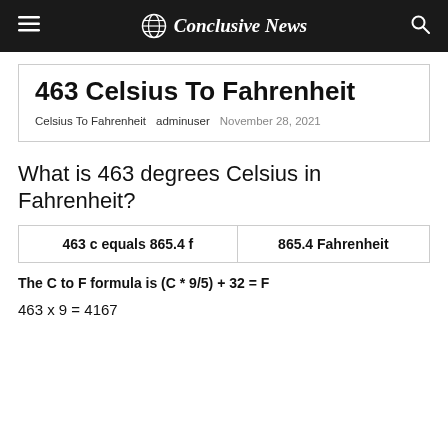Conclusive News
463 Celsius To Fahrenheit
Celsius To Fahrenheit   adminuser   November 28, 2021
What is 463 degrees Celsius in Fahrenheit?
| 463 c equals 865.4 f | 865.4 Fahrenheit |
The C to F formula is (C * 9/5) + 32 = F
463 x 9 = 4167